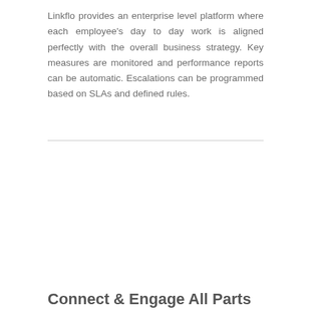Linkflo provides an enterprise level platform where each employee's day to day work is aligned perfectly with the overall business strategy. Key measures are monitored and performance reports can be automatic. Escalations can be programmed based on SLAs and defined rules.
Connect & Engage All Parts